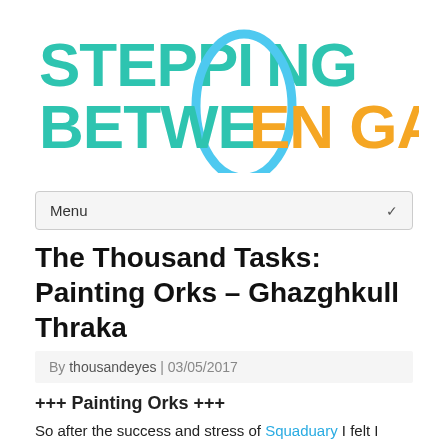[Figure (logo): Stepping Between Games logo with teal and gold bold text and a blue portal ring graphic overlapping the letters]
Menu
The Thousand Tasks: Painting Orks – Ghazghkull Thraka
By thousandeyes | 03/05/2017
+++ Painting Orks +++
So after the success and stress of Squaduary I felt I needed